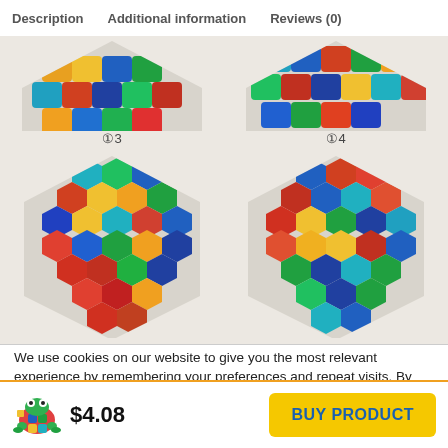Description   Additional information   Reviews (0)
[Figure (photo): Two hexagonal colorful wooden puzzle boards shown partially at top (numbered 1 and 2 partially cropped), and two full hexagonal colorful wooden puzzles numbered 3 and 4 with multicolored hexagonal tile pieces arranged in a pattern.]
We use cookies on our website to give you the most relevant experience by remembering your preferences and repeat visits. By clicking “Accept”, you consent to the use of ALL the cookies.
Do not sell my personal information.
[Figure (logo): Colorful frog cartoon logo holding a puzzle piece]
$4.08
BUY PRODUCT